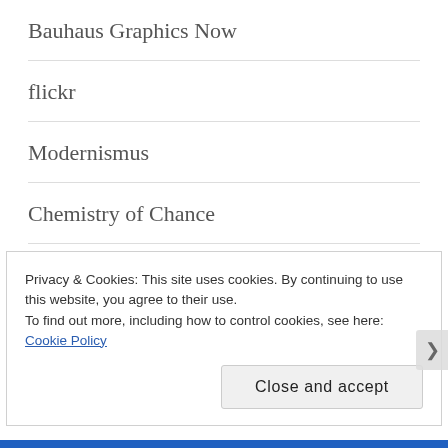Bauhaus Graphics Now
flickr
Modernismus
Chemistry of Chance
Blurb books
Edmund Pearce gallery
Tacit gallery
Privacy & Cookies: This site uses cookies. By continuing to use this website, you agree to their use.
To find out more, including how to control cookies, see here: Cookie Policy
Close and accept